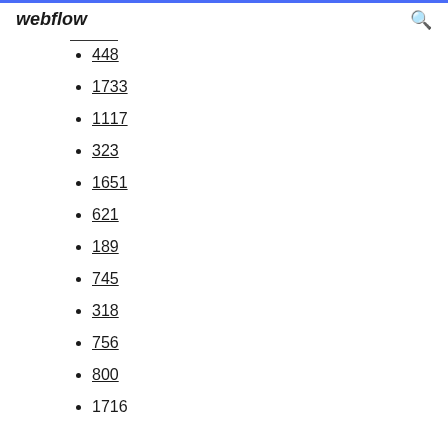webflow
448
1733
1117
323
1651
621
189
745
318
756
800
1716